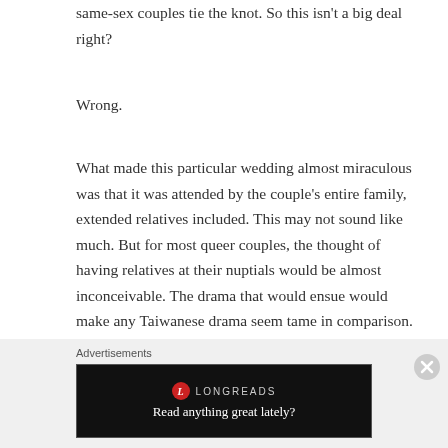same-sex couples tie the knot. So this isn't a big deal right?
Wrong.
What made this particular wedding almost miraculous was that it was attended by the couple's entire family, extended relatives included. This may not sound like much. But for most queer couples, the thought of having relatives at their nuptials would be almost inconceivable. The drama that would ensue would make any Taiwanese drama seem tame in comparison.
Advertisements
[Figure (screenshot): Longreads advertisement banner with logo and tagline 'Read anything great lately?']